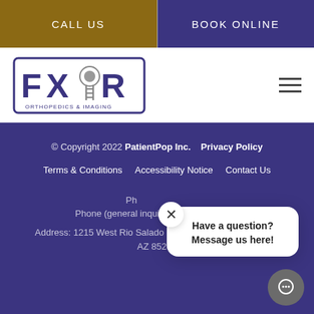CALL US
BOOK ONLINE
[Figure (logo): FXRX Orthopedics & Imaging logo with spine/head graphic]
© Copyright 2022 PatientPop Inc.   Privacy Policy
Terms & Conditions   Accessibility Notice   Contact Us
Phone (general inquiries): 480-713-3913
Address: 1215 West Rio Salado Parkway, Suite 105, Tempe, AZ 85281
Have a question? Message us here!